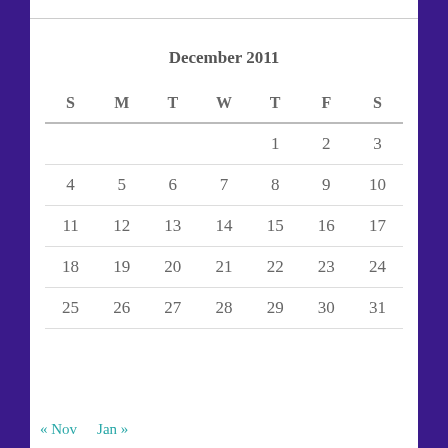December 2011
| S | M | T | W | T | F | S |
| --- | --- | --- | --- | --- | --- | --- |
|  |  |  |  | 1 | 2 | 3 |
| 4 | 5 | 6 | 7 | 8 | 9 | 10 |
| 11 | 12 | 13 | 14 | 15 | 16 | 17 |
| 18 | 19 | 20 | 21 | 22 | 23 | 24 |
| 25 | 26 | 27 | 28 | 29 | 30 | 31 |
« Nov   Jan »